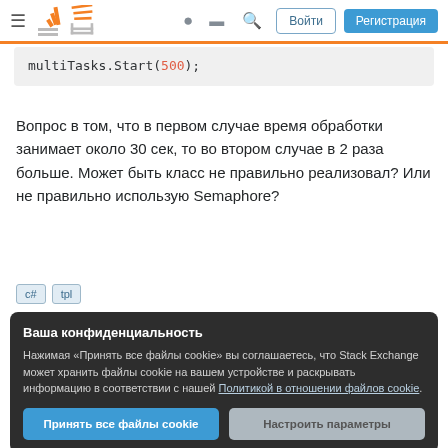Stack Overflow navigation bar with logo, help, chat, search icons, Войти and Регистрация buttons
[Figure (screenshot): Code snippet showing: multiTasks.Start(500);]
Вопрос в том, что в первом случае время обработки занимает около 30 сек, то во втором случае в 2 раза больше. Может быть класс не правильно реализовал? Или не правильно использую Semaphore?
c#
tpl
Ваша конфиденциальность
Нажимая «Принять все файлы cookie» вы соглашаетесь, что Stack Exchange может хранить файлы cookie на вашем устройстве и раскрывать информацию в соответствии с нашей Политикой в отношении файлов cookie.
Принять все файлы cookie   Настроить параметры